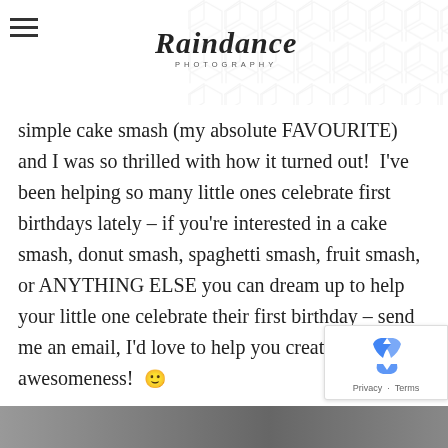Raindance Photography
simple cake smash (my absolute FAVOURITE) and I was so thrilled with how it turned out!  I've been helping so many little ones celebrate first birthdays lately – if you're interested in a cake smash, donut smash, spaghetti smash, fruit smash, or ANYTHING ELSE you can dream up to help your little one celebrate their first birthday – send me an email, I'd love to help you create this awesomeness! 🙂
For now, here's Ethan and  his sweet little family!  🙂
[Figure (other): Bottom image strip showing partial photo of Ethan and family]